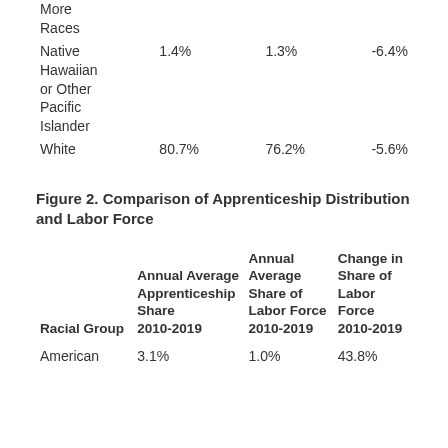| Racial Group | Annual Average Apprenticeship Share 2010-2019 | Annual Average Share of Labor Force 2010-2019 | Change in Share of Labor Force 2010-2019 |
| --- | --- | --- | --- |
| More Races |  |  |  |
| Native Hawaiian or Other Pacific Islander | 1.4% | 1.3% | -6.4% |
| White | 80.7% | 76.2% | -5.6% |
Figure 2. Comparison of Apprenticeship Distribution and Labor Force
| Racial Group | Annual Average Apprenticeship Share 2010-2019 | Annual Average Share of Labor Force 2010-2019 | Change in Share of Labor Force 2010-2019 |
| --- | --- | --- | --- |
| American | 3.1% | 1.0% | 43.8% |